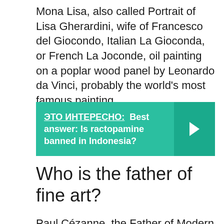Mona Lisa, also called Portrait of Lisa Gherardini, wife of Francesco del Giocondo, Italian La Gioconda, or French La Joconde, oil painting on a poplar wood panel by Leonardo da Vinci, probably the world's most famous painting.
[Figure (infographic): Teal banner with Russian text 'ЭТО ИНТЕРЕСНО:' underlined, followed by bold white text 'Best answer: Is ractopamine banned in Indonesia?' with a right-arrow chevron button on the right.]
Who is the father of fine art?
Paul Cézanne, the Father of Modern art. Cézanne occupies a special place in the history of Modern art. Rejected by the art world at the beginning of his career, he had